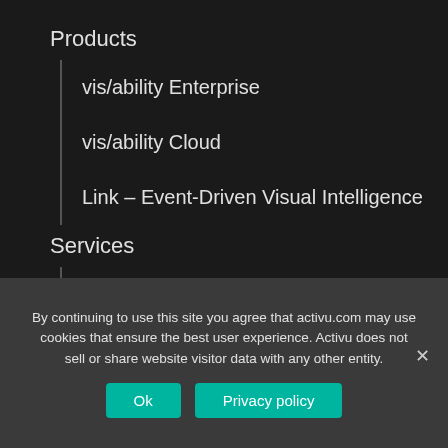Products
vis/ability Enterprise
vis/ability Cloud
Link – Event-Driven Visual Intelligence
Services
Design Services
Implementation Services
Support Services
By continuing to use this site you agree that activu.com may use cookies that ensure the best user experience. Activu does not sell or share website visitor data with any other entity.
Ok
Privacy policy